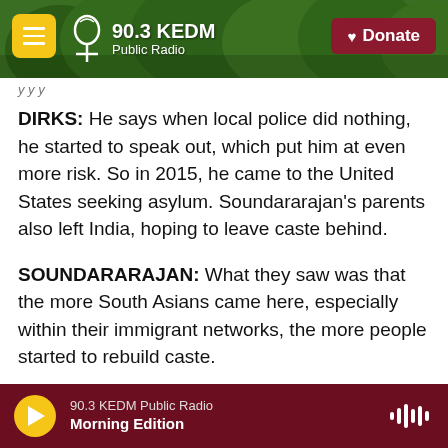90.3 KEDM Public Radio — Donate
DIRKS: He says when local police did nothing, he started to speak out, which put him at even more risk. So in 2015, he came to the United States seeking asylum. Soundararajan's parents also left India, hoping to leave caste behind.
SOUNDARARAJAN: What they saw was that the more South Asians came here, especially within their immigrant networks, the more people started to rebuild caste.
DIRKS: Caste is a pervasive system of power in
90.3 KEDM Public Radio — Morning Edition